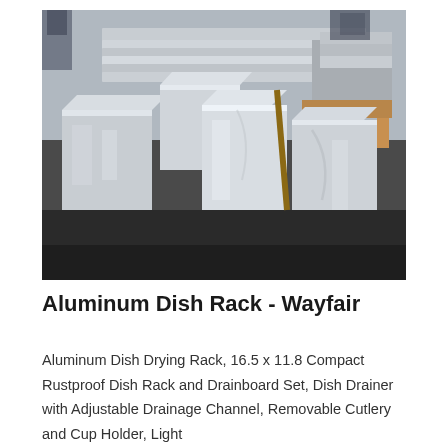[Figure (photo): Warehouse photo showing large aluminum block ingots or slabs wrapped in plastic, stacked on wooden pallets in an industrial facility.]
Aluminum Dish Rack - Wayfair
Aluminum Dish Drying Rack, 16.5 x 11.8 Compact Rustproof Dish Rack and Drainboard Set, Dish Drainer with Adjustable Drainage Channel, Removable Cutlery and Cup Holder, Light